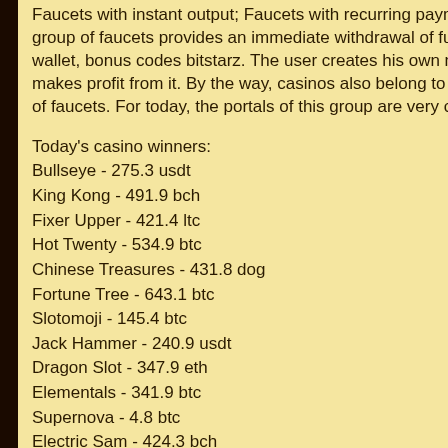Faucets with instant output; Faucets with recurring payments. The first group of faucets provides an immediate withdrawal of funds to the wallet, bonus codes bitstarz. The user creates his own mine and makes profit from it. By the way, casinos also belong to the first group of faucets. For today, the portals of this group are very common.
Today's casino winners:
Bullseye - 275.3 usdt
King Kong - 491.9 bch
Fixer Upper - 421.4 ltc
Hot Twenty - 534.9 btc
Chinese Treasures - 431.8 dog
Fortune Tree - 643.1 btc
Slotomoji - 145.4 btc
Jack Hammer - 240.9 usdt
Dragon Slot - 347.9 eth
Elementals - 341.9 btc
Supernova - 4.8 btc
Electric Sam - 424.3 bch
[Figure (illustration): Dark background with teal/turquoise 3D spherical and cylindrical decorative shapes on the right side of the page]